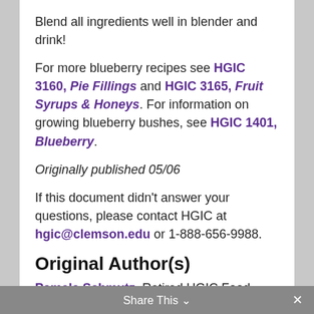Blend all ingredients well in blender and drink!
For more blueberry recipes see HGIC 3160, Pie Fillings and HGIC 3165, Fruit Syrups & Honeys. For information on growing blueberry bushes, see HGIC 1401, Blueberry.
Originally published 05/06
If this document didn't answer your questions, please contact HGIC at hgic@clemson.edu or 1-888-656-9988.
Original Author(s)
Pamela Schmutz, Retired HGIC Food Safety Specialist, Clemson University
Revisions by
Share This ∨  ×